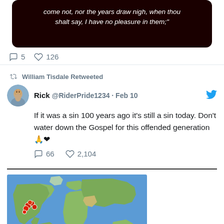[Figure (screenshot): Dark background tweet image with italic white text: 'come not, nor the years draw nigh, when thou shalt say, I have no pleasure in them;']
💬 5   ♡ 126
🔁 William Tisdale Retweeted
Rick @RiderPride1234 · Feb 10
If it was a sin 100 years ago it's still a sin today. Don't water down the Gospel for this offended generation 🙏❤
💬 66   ♡ 2,104
[Figure (map): World map image with red location pins clustered in North America]